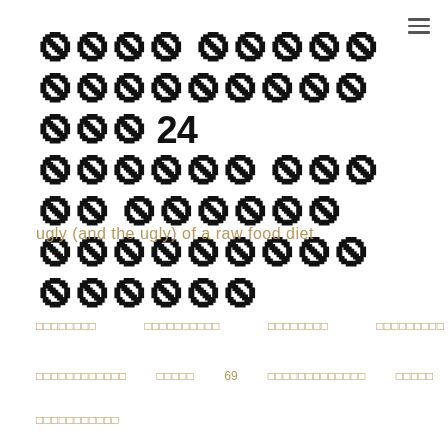🟥🟥🟥🟥 🟥🟥🟥🟥🟥🟥🟥🟥🟥🟥🟥🟥🟥🟥🟥🟥🟥 24 🟥🟥🟥🟥🟥🟥 🟥🟥🟥🟥🟥 🟥🟥🟥🟥🟥🟥 🟥🟥🟥🟥🟥🟥🟥🟥🟥🟥🟥🟥🟥🟥🟥
ugly (and the ugly) of a raw food diet
🟧🟧🟧🟧🟧🟧🟧🟧   🟧🟧🟧🟧🟧🟧🟧🟧🟧🟧   🟧🟧🟧🟧🟧🟧🟧🟧   🟧🟧🟧🟧🟧🟧🟧🟧🟧🟧
🟧🟧🟧🟧🟧🟧🟧🟧🟧🟧🟧🟧   🟧🟧🟧🟧🟧   69   🟧🟧🟧🟧🟧🟧🟧🟧🟧🟧🟧🟧🟧   🟧🟧🟧🟧🟧
🟧🟧🟧🟧🟧🟧🟧🟧🟧🟧🟧